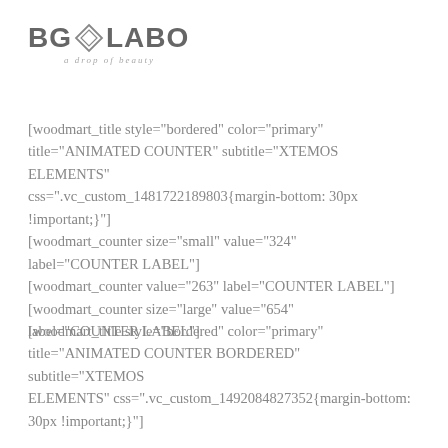[Figure (logo): BG LABO logo with diamond icon and tagline 'a drop of beauty']
[woodmart_title style="bordered" color="primary" title="ANIMATED COUNTER" subtitle="XTEMOS ELEMENTS" css=".vc_custom_1481722189803{margin-bottom: 30px !important;"]
[woodmart_counter size="small" value="324" label="COUNTER LABEL"]
[woodmart_counter value="263" label="COUNTER LABEL"]
[woodmart_counter size="large" value="654" label="COUNTER LABEL"]
[woodmart_title style="bordered" color="primary" title="ANIMATED COUNTER BORDERED" subtitle="XTEMOS ELEMENTS" css=".vc_custom_1492084827352{margin-bottom: 30px !important;}"]